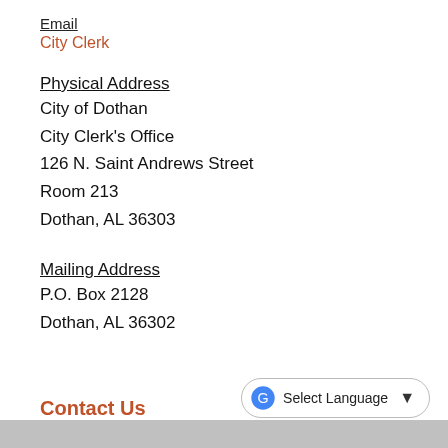Email
City Clerk
Physical Address
City of Dothan
City Clerk's Office
126 N. Saint Andrews Street
Room 213
Dothan, AL 36303
Mailing Address
P.O. Box 2128
Dothan, AL 36302
Contact Us
Select Language